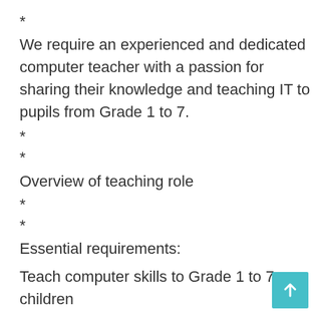*
We require an experienced and dedicated computer teacher with a passion for sharing their knowledge and teaching IT to pupils from Grade 1 to 7.
*
*
Overview of teaching role
*
*
Essential requirements:
Teach computer skills to Grade 1 to 7 children